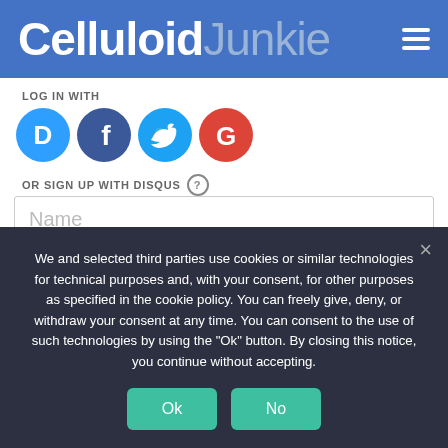Celluloid Junkie
LOG IN WITH
[Figure (illustration): Four social login icons: Disqus (blue circle with D), Facebook (blue circle with f), Twitter (cyan circle with bird), Google (red circle with G)]
OR SIGN UP WITH DISQUS ?
Name
We and selected third parties use cookies or similar technologies for technical purposes and, with your consent, for other purposes as specified in the cookie policy. You can freely give, deny, or withdraw your consent at any time. You can consent to the use of such technologies by using the "Ok" button. By closing this notice, you continue without accepting.
Ok  No